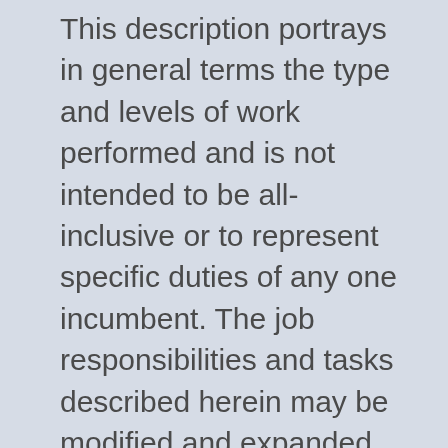This description portrays in general terms the type and levels of work performed and is not intended to be all-inclusive or to represent specific duties of any one incumbent. The job responsibilities and tasks described herein may be modified and expanded over time.
#CB
Capstone Logistics, LLC is part of The Transportation and Logistics industry which has been designated a "Critical Infrastructure Segment". As a "critical infrastructure industry" worker in the Transportation and Logistics industry, associates are considered exempt from...